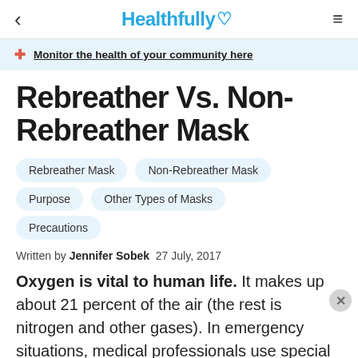< Healthfully ♥ ≡
Monitor the health of your community here
Rebreather Vs. Non-Rebreather Mask
Rebreather Mask
Non-Rebreather Mask
Purpose
Other Types of Masks
Precautions
Written by Jennifer Sobek  27 July, 2017
Oxygen is vital to human life. It makes up about 21 percent of the air (the rest is nitrogen and other gases). In emergency situations, medical professionals use special types of